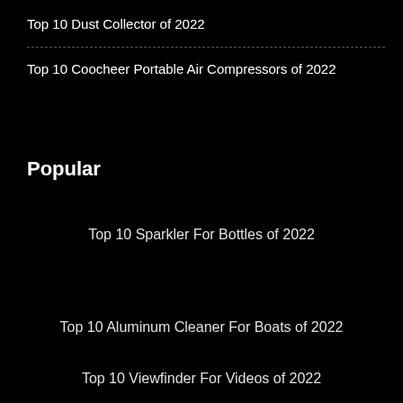Top 10 Dust Collector of 2022
Top 10 Coocheer Portable Air Compressors of 2022
Popular
Top 10 Sparkler For Bottles of 2022
Top 10 Aluminum Cleaner For Boats of 2022
Top 10 Viewfinder For Videos of 2022